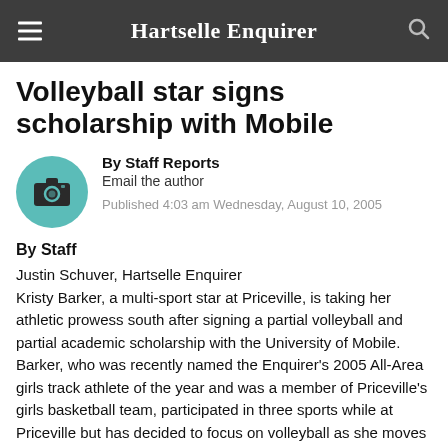Hartselle Enquirer
Volleyball star signs scholarship with Mobile
By Staff Reports
Email the author
Published 4:03 am Wednesday, August 10, 2005
By Staff
Justin Schuver, Hartselle Enquirer
Kristy Barker, a multi-sport star at Priceville, is taking her athletic prowess south after signing a partial volleyball and partial academic scholarship with the University of Mobile. Barker, who was recently named the Enquirer's 2005 All-Area girls track athlete of the year and was a member of Priceville's girls basketball team, participated in three sports while at Priceville but has decided to focus on volleyball as she moves into her collegiate career.
"Now as my high school career has come to a close I look